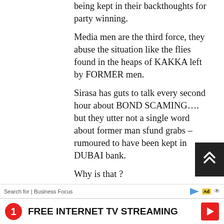being kept in their backthoughts for party winning.
Media men are the third force, they abuse the situation like the flies found in the heaps of KAKKA left by FORMER men.
Sirasa has guts to talk every second hour about BOND SCAMING…. but they utter not a single word about former man sfund grabs – rumoured to have been kept in DUBAI bank.
Why is that ?
If Rajitha or any other UNPers have added the comment containing those allegations levelled at RAJAPAKSHE to be truths
[Figure (other): Scroll-up navigation button (dark background with double chevron up arrow)]
Search for | Business Focus
1   FREE INTERNET TV STREAMING